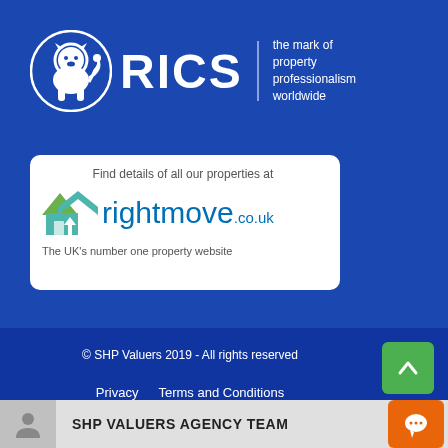[Figure (logo): RICS logo with lion in circle, wordmark RICS, vertical divider, and tagline 'the mark of property professionalism worldwide' on blue background]
[Figure (logo): Rightmove.co.uk banner with text 'Find details of all our properties at rightmove.co.uk The UK's number one property website' with green house logo]
© SHP Valuers 2019 - All rights reserved
Privacy   Terms and Conditions
SHP VALUERS AGENCY TEAM